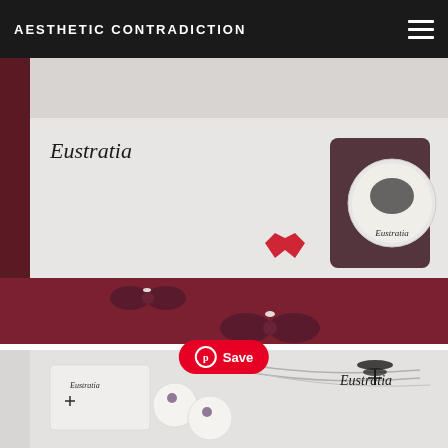AESTHETIC CONTRADICTION
[Figure (photo): Flat lay photo showing Eustratia branded jewelry items: dark red/burgundy bow-shaped earrings, small red bat charm, organza gift bag with Eustratia button/badge logo, on white and burgundy background]
[Figure (photo): Photo showing Eustratia branded necklace with white sphere pendants that have small purple flower details, silver chain, business card, and dragonfly-key Eustratia logo in corner]